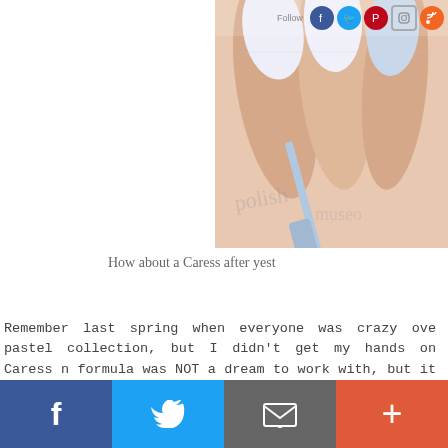[Figure (photo): Close-up photo of nails painted in pale blue/white pastel colors with a nail polish brush, on a website with social media icons at top]
How about a Caress after yest
Remember last spring when everyone was crazy ove pastel collection, but I didn't get my hands on Caress n formula was NOT a dream to work with, but it was released this year (*cough* ChG *cough*). The first t after the third. One thing I can say about Caress?